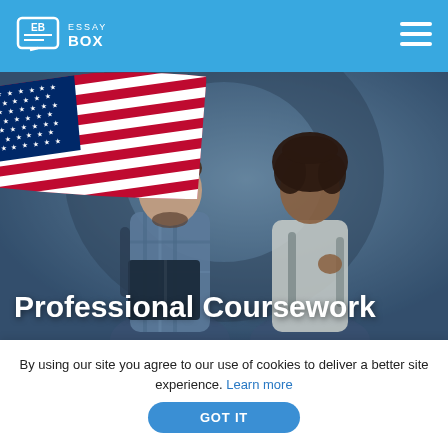EssayBox — navigation header with logo and hamburger menu
[Figure (illustration): Hero image showing two students (a male and female) looking at an open book/notebook together, with a blurred background. A US flag illustration overlays the top-left corner. Text overlay reads 'Professional Coursework'.]
Professional Coursework
By using our site you agree to our use of cookies to deliver a better site experience. Learn more
GOT IT